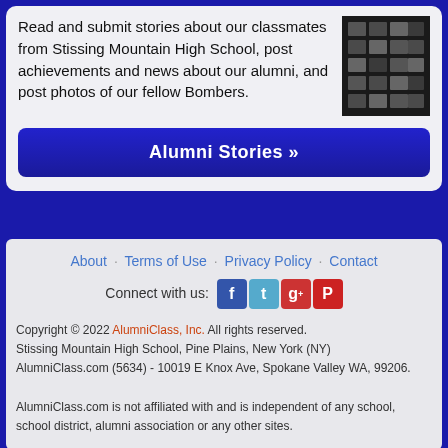Read and submit stories about our classmates from Stissing Mountain High School, post achievements and news about our alumni, and post photos of our fellow Bombers.
[Figure (photo): Wall of framed photos/pictures in a dark room]
Alumni Stories »
About · Terms of Use · Privacy Policy · Contact
Connect with us: [Facebook] [Twitter] [Google+] [Pinterest]
Copyright © 2022 AlumniClass, Inc. All rights reserved.
Stissing Mountain High School, Pine Plains, New York (NY)
AlumniClass.com (5634) - 10019 E Knox Ave, Spokane Valley WA, 99206.
AlumniClass.com is not affiliated with and is independent of any school, school district, alumni association or any other sites.